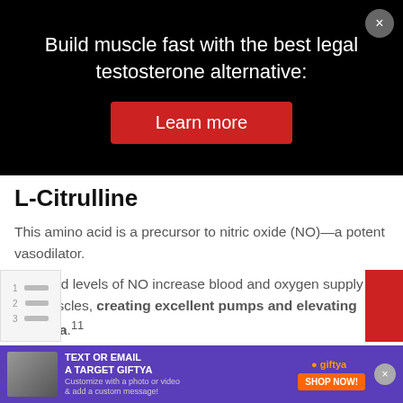[Figure (other): Black overlay advertisement: 'Build muscle fast with the best legal testosterone alternative:' with a red 'Learn more' button and a close (×) button]
L-Citrulline
This amino acid is a precursor to nitric oxide (NO)—a potent vasodilator.
Elevated levels of NO increase blood and oxygen supply to the muscles, creating excellent pumps and elevating stamina.11
Additionally, studies have shown citrulline supplementation can heighten growth hormone
[Figure (other): Bottom banner advertisement for GiftYa: 'TEXT OR EMAIL A TARGET GIFTYA' with phone image and shop button]